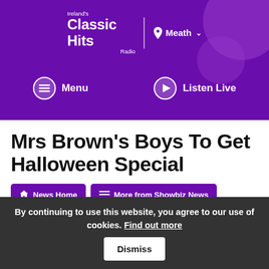[Figure (logo): Ireland's Classic Hits Radio logo with location selector showing Meath, on purple background with decorative circles]
[Figure (screenshot): Navigation bar with Menu and Listen Live buttons on purple background]
Mrs Brown's Boys To Get Halloween Special
News Home  More from Showbiz News
Thursday, September 16th, 2021 3:13pm
By Dalton Mac Namee
By continuing to use this website, you agree to our use of cookies. Find out more  Dismiss